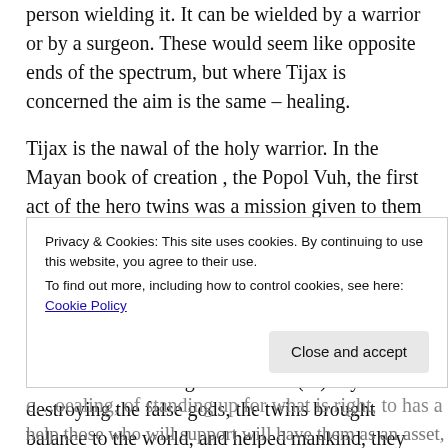person wielding it. It can be wielded by a warrior or by a surgeon. These would seem like opposite ends of the spectrum, but where Tijax is concerned the aim is the same – healing.
Tijax is the nawal of the holy warrior. In the Mayan book of creation , the Popol Vuh, the first act of the hero twins was a mission given to them by the Heart of the Sky to rid the world of the false gods Seven Macaw, Zipacna and Earthquake. This is their quest, their crusade, and is represented by Tijax. They then sacrifice themselves in the underworld (Kame) and are resurrected with magical abilities (Ix). By destroying the false gods, the twins brought balance to the world, and helped mankind, they brought healing to the world. They cut out that
Privacy & Cookies: This site uses cookies. By continuing to use this website, you agree to their use.
To find out more, including how to control cookies, see here: Cookie Policy
Close and accept